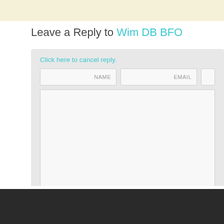Leave a Reply to Wim DB BFO
Click here to cancel reply.
[Figure (screenshot): Web form with NAME, EMAIL, URL input fields, a large textarea for comment, and a SUBMIT COMMENT button]